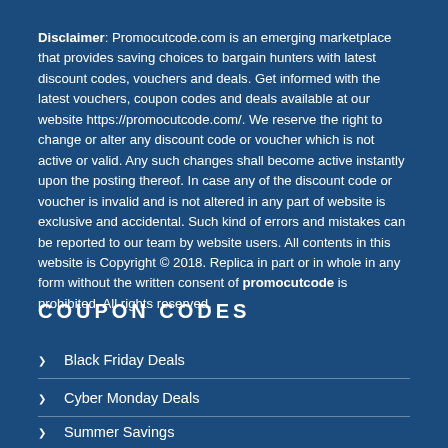Disclaimer: Promocutcode.com is an emerging marketplace that provides saving choices to bargain hunters with latest discount codes, vouchers and deals. Get informed with the latest vouchers, coupon codes and deals available at our website https://promocutcode.com/. We reserve the right to change or alter any discount code or voucher which is not active or valid. Any such changes shall become active instantly upon the posting thereof. In case any of the discount code or voucher is invalid and is not altered in any part of website is exclusive and accidental. Such kind of errors and mistakes can be reported to our team by website users. All contents in this website is Copyright © 2018. Replica in part or in whole in any form without the written consent of promocutcode is prohibited. All rights reserved.
COUPON CODES
Black Friday Deals
Cyber Monday Deals
Summer Savings